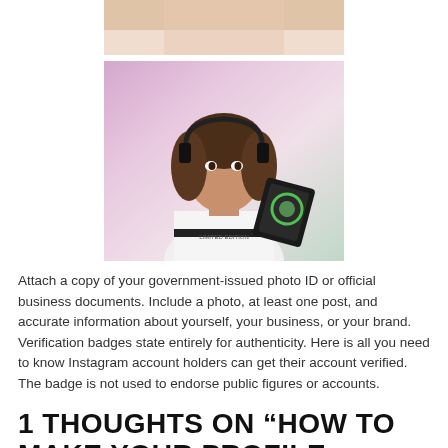[Figure (photo): Top portion of a photo showing a person's arms/body on white bedding]
[Figure (photo): Photo of a young woman with brown wavy hair wearing a white 'LIMITED EDITION' t-shirt, holding a gaming headset with a ring light, with a pink background]
Attach a copy of your government-issued photo ID or official business documents. Include a photo, at least one post, and accurate information about yourself, your business, or your brand. Verification badges state entirely for authenticity. Here is all you need to know Instagram account holders can get their account verified. The badge is not used to endorse public figures or accounts.
1 THOUGHTS ON “HOW TO MAKE YOUR PROFILE VERIFIED ON INSTAGRAM”